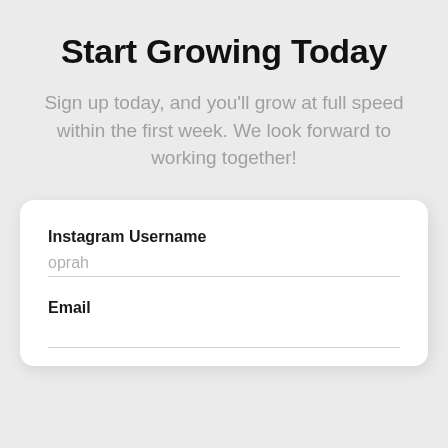Start Growing Today
Sign up today, and you’ll grow at full speed within the first week. We look forward to working together!
Instagram Username
oprah
Email